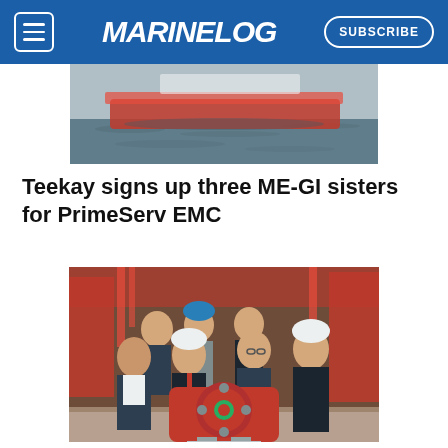MARINELOG | SUBSCRIBE
[Figure (photo): Aerial or ground-level photo of a ship hull near water, showing the side of a large vessel with dark water below.]
Teekay signs up three ME-GI sisters for PrimeServ EMC
[Figure (photo): Group photo of approximately seven people including men in business suits and hard hats (blue and white) and a woman, standing in front of industrial marine machinery (red engine components) in a workshop setting.]